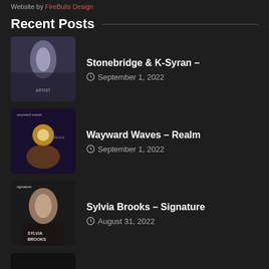Website by FireBulls Design
Recent Posts
Stonebridge & K-Syran – | September 1, 2022
Wayward Waves – Realm | September 1, 2022
Sylvia Brooks – Signature | August 31, 2022
Aluna Thavonsouk – "Theotherside" | August 31, 2022